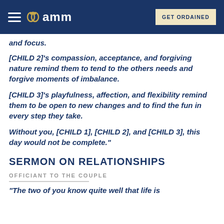amm | GET ORDAINED
and focus.
[CHILD 2]'s compassion, acceptance, and forgiving nature remind them to tend to the others needs and forgive moments of imbalance.
[CHILD 3]'s playfulness, affection, and flexibility remind them to be open to new changes and to find the fun in every step they take.
Without you, [CHILD 1], [CHILD 2], and [CHILD 3], this day would not be complete."
SERMON ON RELATIONSHIPS
OFFICIANT TO THE COUPLE
"The two of you know quite well that life is